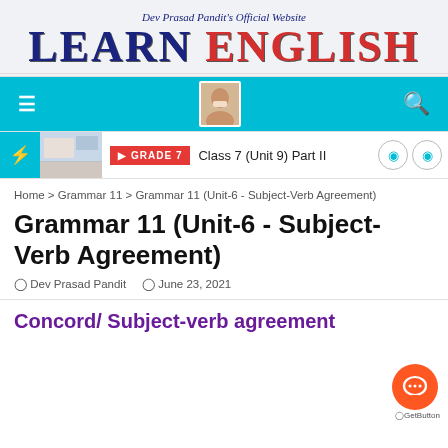Dev Prasad Pandit's Official Website
LEARN ENGLISH
[Figure (screenshot): Website navigation bar with hamburger menu, avatar photo, and search icon on cyan background]
[Figure (screenshot): Breaking news / top bar with bolt icon, thumbnail, GRADE 7 badge, and text: Class 7 (Unit 9) Part II]
Home > Grammar 11 > Grammar 11 (Unit-6 - Subject-Verb Agreement)
Grammar 11 (Unit-6 - Subject-Verb Agreement)
Dev Prasad Pandit   June 23, 2021
Concord/ Subject-verb agreement